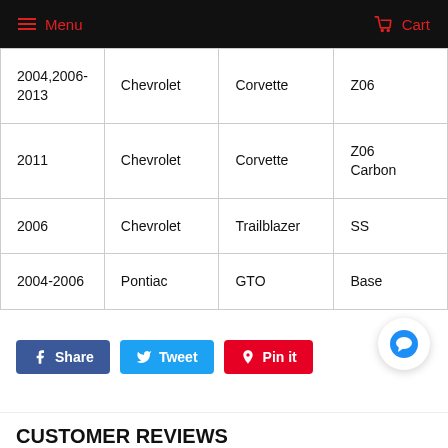Menu  Cart
| 2004,2006-2013 | Chevrolet | Corvette | Z06 |
| 2011 | Chevrolet | Corvette | Z06 Carbon |
| 2006 | Chevrolet | Trailblazer | SS |
| 2004-2006 | Pontiac | GTO | Base |
Share  Tweet  Pin it
CUSTOMER REVIEWS